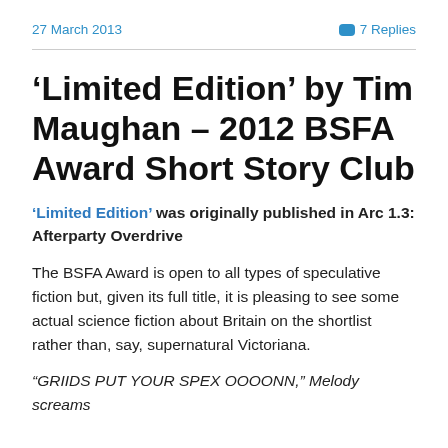27 March 2013    7 Replies
‘Limited Edition’ by Tim Maughan – 2012 BSFA Award Short Story Club
‘Limited Edition’ was originally published in Arc 1.3: Afterparty Overdrive
The BSFA Award is open to all types of speculative fiction but, given its full title, it is pleasing to see some actual science fiction about Britain on the shortlist rather than, say, supernatural Victoriana.
“GRIIDS PUT YOUR SPEX OOOONN,” Melody screams